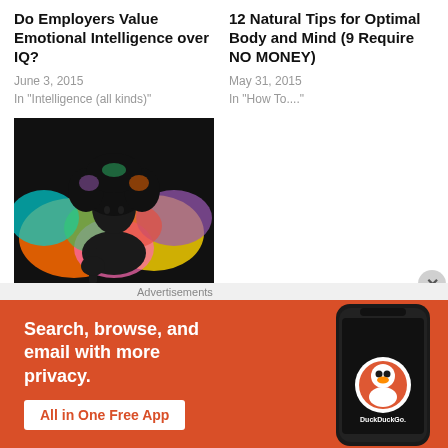Do Employers Value Emotional Intelligence over IQ?
June 3, 2015
In "Intelligence (all kinds)"
12 Natural Tips for Optimal Body and Mind (9 Require NO MONEY)
May 31, 2015
In "How To...."
[Figure (illustration): Colorful artistic portrait of a musician (Jimi Hendrix style) with psychedelic colors against dark background]
8 Habits of Successful People with High Creative Intelligence
June 8, 2015
In "Intelligence (all kinds)"
Advertisements
[Figure (infographic): DuckDuckGo advertisement banner: orange background with text 'Search, browse, and email with more privacy. All in One Free App' and phone mockup showing DuckDuckGo logo]